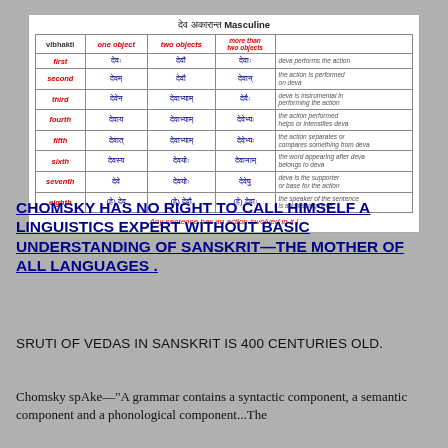| vibhakti | one object | two objects | more than two objects |  |
| --- | --- | --- | --- | --- |
| first | देवः | देवौ | देवाः | deva performs the action |
| second | देवम् | देवौ | देवान् | the action is performed on deva |
| third | देवेन | देवाभ्याम् | देवैः | deva is instrumental in performing the action |
| fourth | देवाय | देवाभ्याम् | देवेभ्यः | the action performed helps or intensifies deva |
| fifth | देवात् | देवाभ्याम् | देवेभ्यः | the action separates or compares something from deva |
| sixth | देवस्य | देवयोः | देवानाम् | the word appearing after deva belongs to deva |
| seventh | देवे | देवयोः | देवेषु | deva is the supporter or base for the action |
| eighth | (हे) देव | (हे) देवौ | (हे) देवाः | the speaker of the sentence is addressing deva |
Any sentence has an action involved in it !
CHOMSKY HAS NO RIGHT TO CALL HIMSELF A LINGUISTICS EXPERT WITHOUT BASIC UNDERSTANDING OF SANSKRIT—THE MOTHER OF ALL LANGUAGES .
SRUTI OF VEDAS IN SANSKRIT IS 400 CENTURIES OLD.
Chomsky spAke—"A grammar contains a syntactic component, a semantic component and a phonological component...The